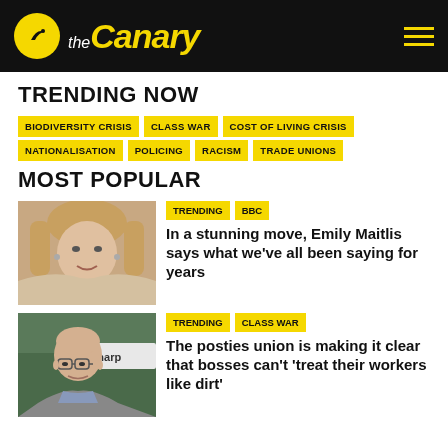theCanary
TRENDING NOW
BIODIVERSITY CRISIS
CLASS WAR
COST OF LIVING CRISIS
NATIONALISATION
POLICING
RACISM
TRADE UNIONS
MOST POPULAR
[Figure (photo): Woman with blonde hair, wearing earrings, speaking or gesturing]
TRENDING  BBC
In a stunning move, Emily Maitlis says what we've all been saying for years
[Figure (photo): Older bald man with glasses, wearing a grey jacket and light blue shirt]
TRENDING  CLASS WAR
The posties union is making it clear that bosses can't 'treat their workers like dirt'